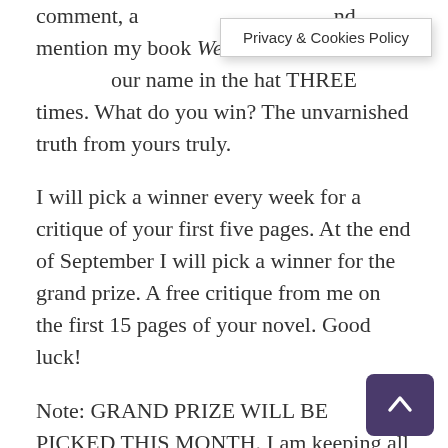comment, a… nd mention my book We Are Not Alon… our name in the hat THREE times. What do you win? The unvarnished truth from yours truly.
I will pick a winner every week for a critique of your first five pages. At the end of September I will pick a winner for the grand prize. A free critique from me on the first 15 pages of your novel. Good luck!
Note: GRAND PRIZE WILL BE PICKED THIS MONTH. I am keeping all the names for a final GRAND, GRAND PRIZE of 30 Pages (To be announced at the end of September) OR a blog diagnostic. I look at your blog and give feedback to improve it. For now, I will draw weekly for 5 page edit, monthly for 15 page edit.
In the meantime, I hope you pick up copies of my best books We Are Not Alone–The Writer's Guide to Social